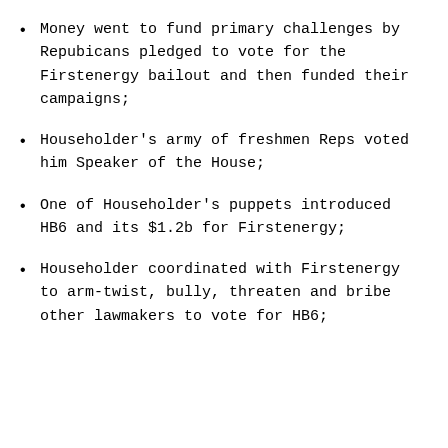Money went to fund primary challenges by Repubicans pledged to vote for the Firstenergy bailout and then funded their campaigns;
Householder's army of freshmen Reps voted him Speaker of the House;
One of Householder's puppets introduced HB6 and its $1.2b for Firstenergy;
Householder coordinated with Firstenergy to arm-twist, bully, threaten and bribe other lawmakers to vote for HB6;